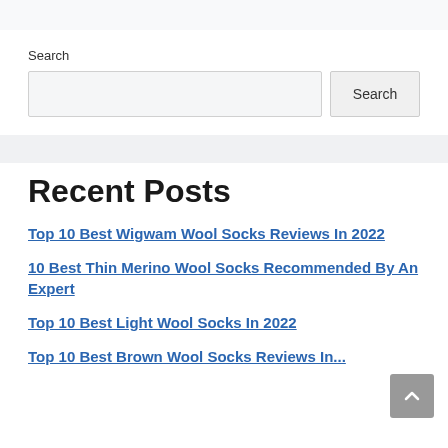Search
Search (input field) | Search (button)
Recent Posts
Top 10 Best Wigwam Wool Socks Reviews In 2022
10 Best Thin Merino Wool Socks Recommended By An Expert
Top 10 Best Light Wool Socks In 2022
Top 10 Best Brown Wool Socks Reviews In...